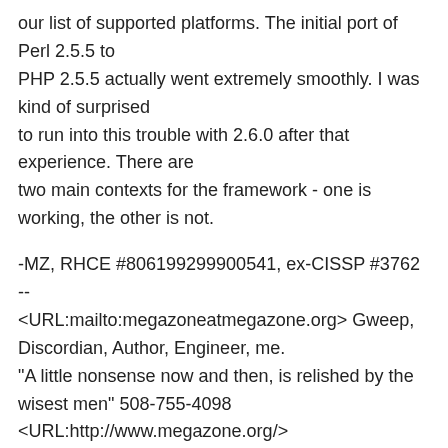our list of supported platforms. The initial port of Perl 2.5.5 to
PHP 2.5.5 actually went extremely smoothly. I was kind of surprised
to run into this trouble with 2.6.0 after that experience. There are
two main contexts for the framework - one is working, the other is not.
-MZ, RHCE #806199299900541, ex-CISSP #3762
--
<URL:mailto:megazoneatmegazone.org> Gweep, Discordian, Author, Engineer, me.
"A little nonsense now and then, is relished by the wisest men" 508-755-4098
<URL:http://www.megazone.org/> <URL:http://www.eyrie-productions.com/> Eris